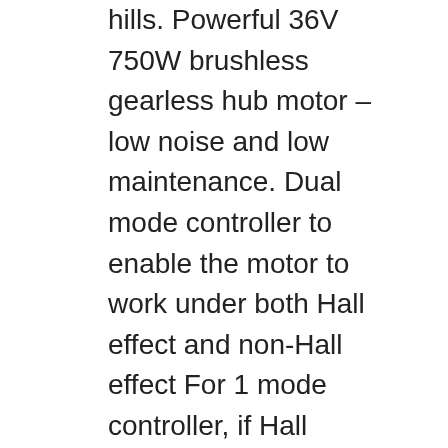hills. Powerful 36V 750W brushless gearless hub motor – low noise and low maintenance. Dual mode controller to enable the motor to work under both Hall effect and non-Hall effect For 1 mode controller, if Hall components inside the motor break down, the motor can't work, but with our controller the motor will switch into non-Hall effect mode and still work well. Brake levers shut off the motor automatically to save energy and improve safety. Aluminum rim & steel spokes. Wheel Size (LxWxH): 26″ x 26″ x 1.75. Wheel Type: Front Wheel. Wheel Axle Length: 175 mm. Front dropout spacing: 100 mm. Idle Speed: 45 km/h. Motor Type: Brushless gearless. Motor Rotating Speed: 360rpm. Motor Torque: 35 N. High Motor Efficiency: >82%. Spokes Type: Steel, 12G Dia. Spokes